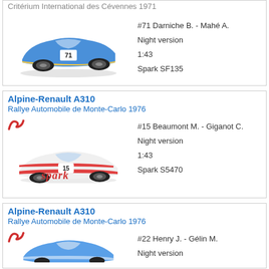Critérium International des Cévennes 1971
[Figure (photo): Blue Alpine-Renault race car #71 model photo]
#71 Darniche B. - Mahé A.
Night version
1:43
Spark SF135
Alpine-Renault A310
Rallye Automobile de Monte-Carlo 1976
[Figure (photo): White/red Alpine-Renault A310 race car #15 model photo with Spark logo]
#15 Beaumont M. - Giganot C.
Night version
1:43
Spark S5470
Alpine-Renault A310
Rallye Automobile de Monte-Carlo 1976
[Figure (photo): Blue Alpine-Renault A310 race car #22 model photo]
#22 Henry J. - Gélin M.
Night version